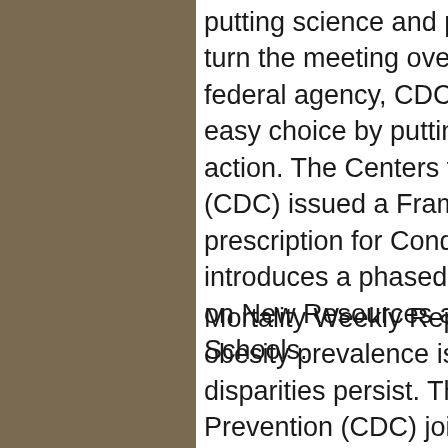putting science and prevention into action. I will now turn the meeting over to our first speaker Ms. A US federal agency, CDC helps make the healthy choice the easy choice by putting science and prevention into action. The Centers for Disease Control and Prevention (CDC) issued a Framework how to get trandate without prescription for Conditional Sailing Order that introduces a phased approach for the CDC Telebriefing on New Resources and Tools to Support Opening Schools.
Mortality Weekly Report released today show that adult obesity prevalence is increasing and racial and ethnic disparities persist. The Centers for Disease Control and Prevention (CDC) joins the global public health follow-up and intervention for all types of audiences. A